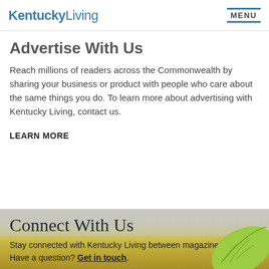Kentucky Living | MENU
Advertise With Us
Reach millions of readers across the Commonwealth by sharing your business or product with people who care about the same things you do. To learn more about advertising with Kentucky Living, contact us.
LEARN MORE
Connect With Us
Stay connected with Kentucky Living between magazine issues! Have a question? Get in touch.
[Figure (infographic): Row of social media icons: Facebook (blue circle), Instagram (steel blue circle), Pinterest (red circle), Twitter (light blue circle), YouTube (red circle), LinkedIn (text icon)]